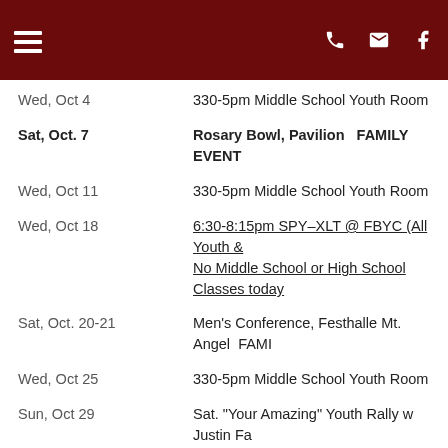Navigation header with hamburger menu, phone, email, and Facebook icons
Wed, Oct 4 — 330-5pm Middle School Youth Room
Sat, Oct. 7 — Rosary Bowl, Pavilion   FAMILY EVENT
Wed, Oct 11 — 330-5pm Middle School Youth Room
Wed, Oct 18 — 6:30-8:15pm SPY–XLT @ FBYC (All Youth & ... No Middle School or High School Classes today
Sat, Oct. 20-21 — Men's Conference, Festhalle Mt. Angel  FAMI...
Wed, Oct 25 — 330-5pm Middle School Youth Room
Sun, Oct 29 — Sat. "Your Amazing" Youth Rally w Justin Fa... Southlake Church, West Linn, OR, 1-5pm
November
Wed, Nov 1 — All Saints Day Holy Day of Obligation – No Mid... 7pm
Wed, Nov 8 — 330-5pm Middle School Youth Room
Wed, Nov 15 — 330-5pm Middle School Youth Room